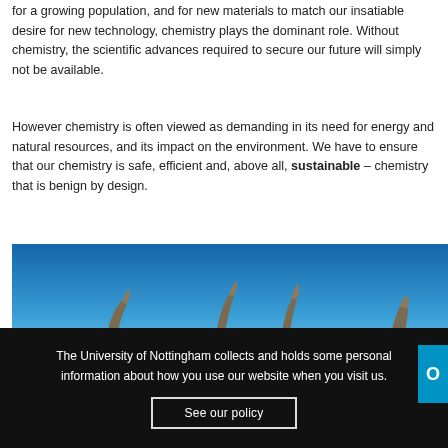for a growing population, and for new materials to match our insatiable desire for new technology, chemistry plays the dominant role. Without chemistry, the scientific advances required to secure our future will simply not be available.
However chemistry is often viewed as demanding in its need for energy and natural resources, and its impact on the environment. We have to ensure that our chemistry is safe, efficient and, above all, sustainable – chemistry that is benign by design.
[Figure (photo): Architectural photo of a curved modern building with tall fin-like concrete pillars against a blue sky, likely the University of Nottingham campus building.]
The University of Nottingham collects and holds some personal information about how you use our website when you visit us.
See our policy